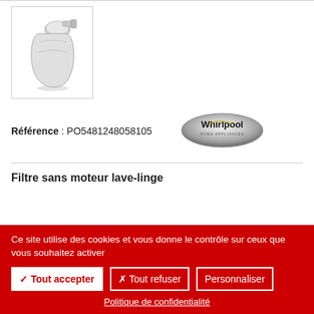[Figure (photo): Product thumbnail image of a washing machine filter (white plastic part) inside a bordered box]
Référence : PO5481248058105
[Figure (logo): Whirlpool brand logo — metallic oval badge with Whirlpool text]
Filtre sans moteur lave-linge
Ce site utilise des cookies et vous donne le contrôle sur ceux que vous souhaitez activer
✓ Tout accepter   ✗ Tout refuser   Personnaliser
Politique de confidentialité